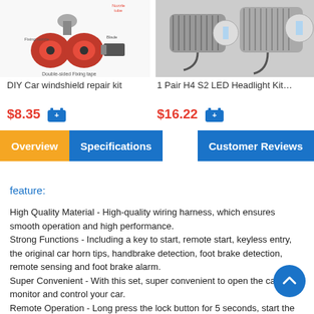[Figure (photo): DIY Car windshield repair kit product image showing red fixing mounts, blade and double-sided fixing tape]
DIY Car windshield repair kit
$8.35
[Figure (photo): 1 Pair H4 S2 LED Headlight Kit product image showing two LED headlight bulbs]
1 Pair H4 S2 LED Headlight Kit…
$16.22
Overview  Specifications  Customer Reviews
feature:
High Quality Material - High-quality wiring harness, which ensures smooth operation and high performance.
Strong Functions - Including a key to start, remote start, keyless entry, the original car horn tips, handbrake detection, foot brake detection, remote sensing and foot brake alarm.
Super Convenient - With this set, super convenient to open the car, monitor and control your car.
Remote Operation - Long press the lock button for 5 seconds, start the